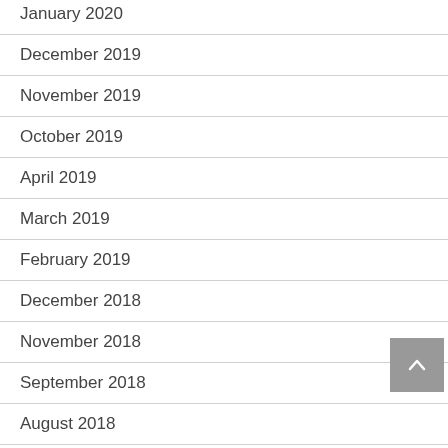January 2020
December 2019
November 2019
October 2019
April 2019
March 2019
February 2019
December 2018
November 2018
September 2018
August 2018
July 2018
March 2018